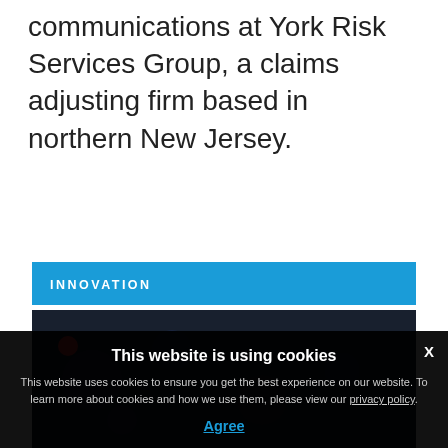communications at York Risk Services Group, a claims adjusting firm based in northern New Jersey.
INNOVATION
[Figure (photo): Dark background image of a keyboard or tech device with a red dot indicator visible in lower-left area]
This website is using cookies
This website uses cookies to ensure you get the best experience on our website. To learn more about cookies and how we use them, please view our privacy policy.
Agree